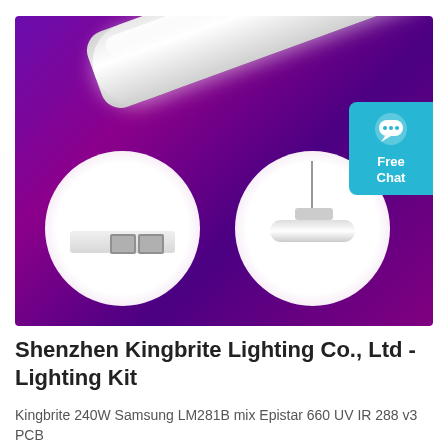[Figure (photo): Product photo of a white LED tube light (linear grow light) against a purple/magenta gradient background. The main image shows the full tube light bar at a diagonal angle. Two circular inset images below show: left circle — close-up of the light connector/port end; right circle — the light hanging from a wire mount. A teal 'Free Chat' badge with speech bubble icon appears in the upper right corner.]
Shenzhen Kingbrite Lighting Co., Ltd - Lighting Kit
Kingbrite 240W Samsung LM281B mix Epistar 660 UV IR 288 v3 PCB